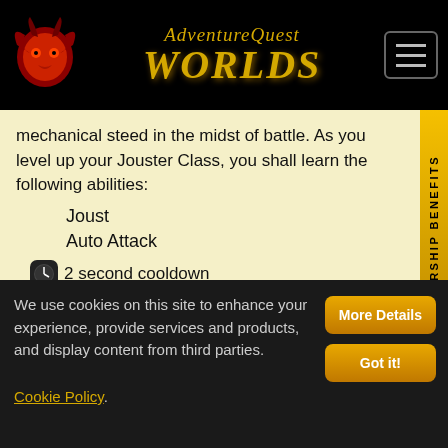AdventureQuest Worlds
mechanical steed in the midst of battle. As you level up your Jouster Class, you shall learn the following abilities:
Joust
Auto Attack
2 second cooldown
A not so basic attack taught to all Jousters. Deals bonus damage on your First Strike... CHAAARGE! Has a chance to stun off balance targets.
MEMBERSHIP BENEFITS
We use cookies on this site to enhance your experience, provide services and products, and display content from third parties. Cookie Policy.